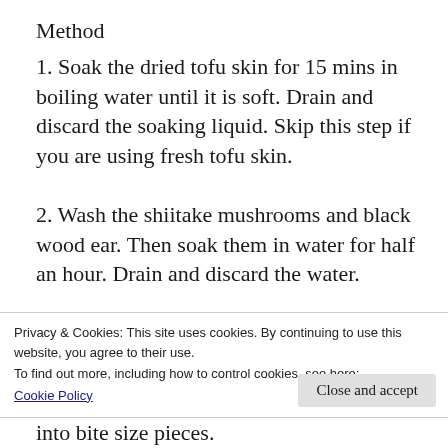Method
1. Soak the dried tofu skin for 15 mins in boiling water until it is soft. Drain and discard the soaking liquid. Skip this step if you are using fresh tofu skin.
2. Wash the shiitake mushrooms and black wood ear. Then soak them in water for half an hour. Drain and discard the water.
3. Simmer the shiitake mushrooms and black wood ear in a sauce pan with just enough
Privacy & Cookies: This site uses cookies. By continuing to use this website, you agree to their use.
To find out more, including how to control cookies, see here:
Cookie Policy
Close and accept
into bite size pieces.